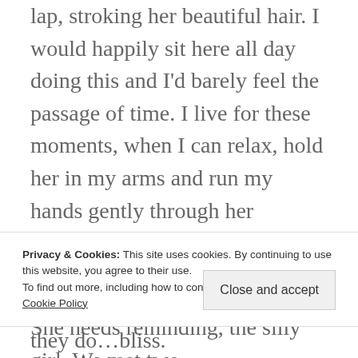lap, stroking her beautiful hair. I would happily sit here all day doing this and I'd barely feel the passage of time. I live for these moments, when I can relax, hold her in my arms and run my hands gently through her gorgeous golden locks. It seems that these moments don't come frequently enough, but when they do…bliss.

I love my Bev. Beverley Watson, to be precise. Beverley Anne Watson, to be even more so. A name which has fallen out of fashion somewhat, but I can't think of one any more beautiful. She doesn't
Privacy & Cookies: This site uses cookies. By continuing to use this website, you agree to their use.
To find out more, including how to control cookies, see here: Cookie Policy
Close and accept
She needs reminding, the silly girl. We met two